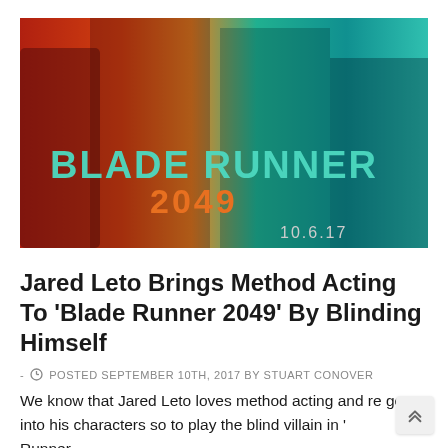[Figure (photo): Blade Runner 2049 movie poster showing four characters against red and teal backgrounds with the title 'BLADE RUNNER 2049' and release date '10.6.17']
Jared Leto Brings Method Acting To ‘Blade Runner 2049’ By Blinding Himself
- POSTED SEPTEMBER 10TH, 2017 BY STUART CONOVER
We know that Jared Leto loves method acting and re gets into his characters so to play the blind villain in ' Runner...